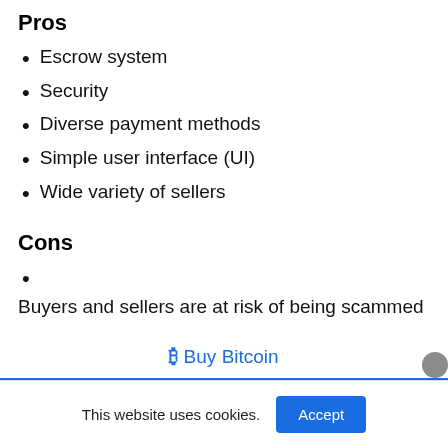Pros
Escrow system
Security
Diverse payment methods
Simple user interface (UI)
Wide variety of sellers
Cons
Buyers and sellers are at risk of being scammed
₿ Buy Bitcoin
This website uses cookies.